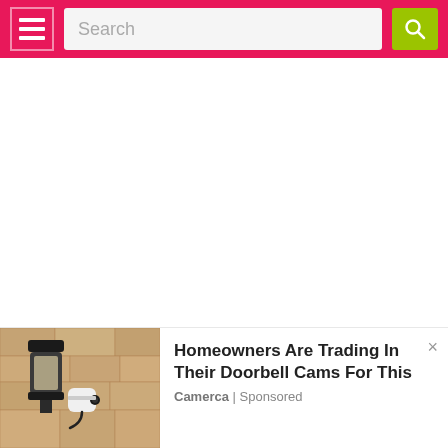Search
[Figure (screenshot): White blank content area]
[Figure (photo): Outdoor wall lamp with a security camera installed, mounted on a stone/brick wall]
Homeowners Are Trading In Their Doorbell Cams For This
Camerca | Sponsored